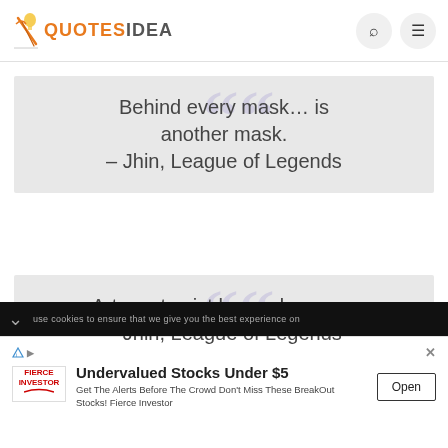QUOTESIDEA
Behind every mask… is another mask. – Jhin, League of Legends
Art must exist beyond reason. – Jhin, League of Legends
use cookies to ensure that we give you the best experience on
Undervalued Stocks Under $5 — Get The Alerts Before The Crowd Don't Miss These BreakOut Stocks! Fierce Investor — Open